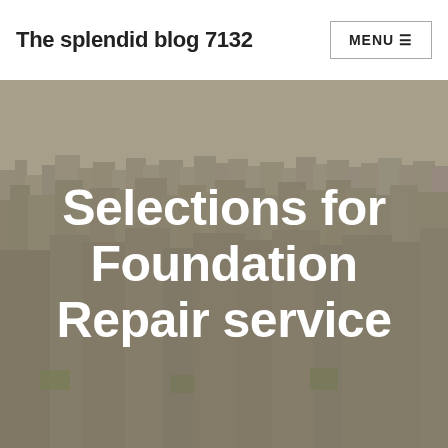The splendid blog 7132
[Figure (photo): Aerial cityscape photo showing a dense urban skyline with numerous skyscrapers and buildings, muted warm-gray tones, New York City style view from above]
Selections for Foundation Repair service